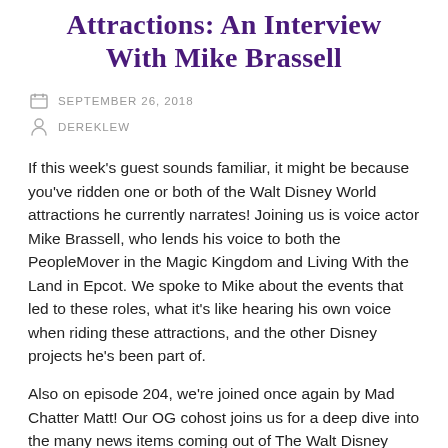Attractions: An Interview With Mike Brassell
SEPTEMBER 26, 2018
DEREKLEW
If this week's guest sounds familiar, it might be because you've ridden one or both of the Walt Disney World attractions he currently narrates! Joining us is voice actor Mike Brassell, who lends his voice to both the PeopleMover in the Magic Kingdom and Living With the Land in Epcot. We spoke to Mike about the events that led to these roles, what it's like hearing his own voice when riding these attractions, and the other Disney projects he's been part of.
Also on episode 204, we're joined once again by Mad Chatter Matt! Our OG cohost joins us for a deep dive into the many news items coming out of The Walt Disney